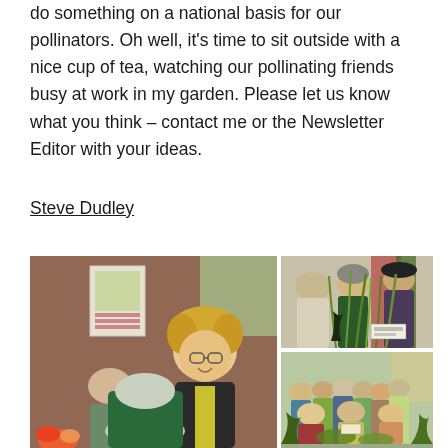do something on a national basis for our pollinators. Oh well, it's time to sit outside with a nice cup of tea, watching our pollinating friends busy at work in my garden. Please let us know what you think – contact me or the Newsletter Editor with your ideas.
Steve Dudley
[Figure (photo): Three photographs from a gardening event/plant sale. Left: A smiling woman with curly blonde hair and glasses in a black jacket chatting with another person, in a hall with a poster on the wall and flowers visible. Top right: Three women looking at tall grass plants at a display/sale. Bottom right: A crowd of people browsing plants at a plant fair or garden event.]